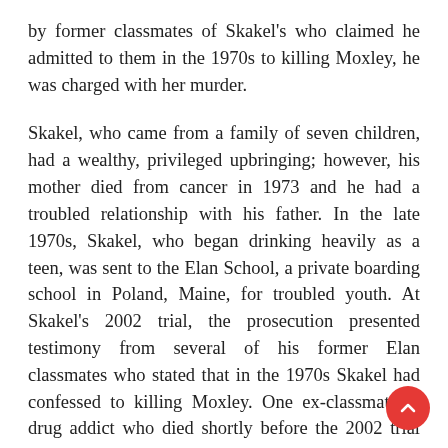by former classmates of Skakel's who claimed he admitted to them in the 1970s to killing Moxley, he was charged with her murder.
Skakel, who came from a family of seven children, had a wealthy, privileged upbringing; however, his mother died from cancer in 1973 and he had a troubled relationship with his father. In the late 1970s, Skakel, who began drinking heavily as a teen, was sent to the Elan School, a private boarding school in Poland, Maine, for troubled youth. At Skakel's 2002 trial, the prosecution presented testimony from several of his former Elan classmates who stated that in the 1970s Skakel had confessed to killing Moxley. One ex-classmate, a drug addict who died shortly before the 2002 trial started, claimed at a previous court hearing that Skakel told him, “I am going to get away with murder because I am a Kennedy.”